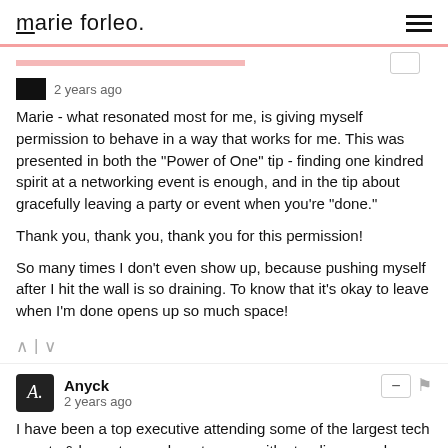marie forleo.
2 years ago
Marie - what resonated most for me, is giving myself permission to behave in a way that works for me. This was presented in both the "Power of One" tip - finding one kindred spirit at a networking event is enough, and in the tip about gracefully leaving a party or event when you're "done."
Thank you, thank you, thank you for this permission!
So many times I don't even show up, because pushing myself after I hit the wall is so draining. To know that it's okay to leave when I'm done opens up so much space!
Anyck
2 years ago
I have been a top executive attending some of the largest tech events & keynote speaker at rooms with standing crowds lining out the door. Funny secret is that I always